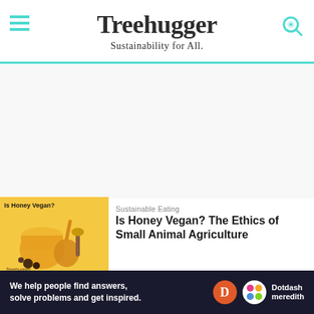Treehugger — Sustainability for All.
[Figure (screenshot): Treehugger website screenshot showing header with hamburger menu, logo, search icon, and article listings]
Sustainable Eating
Is Honey Vegan? The Ethics of Small Animal Agriculture
Garden
The Best Organic Potting Soil
We help people find answers, solve problems and get inspired.